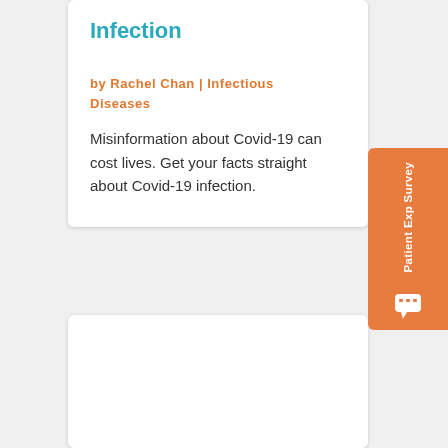Infection
by Rachel Chan | Infectious Diseases
Misinformation about Covid-19 can cost lives. Get your facts straight about Covid-19 infection.